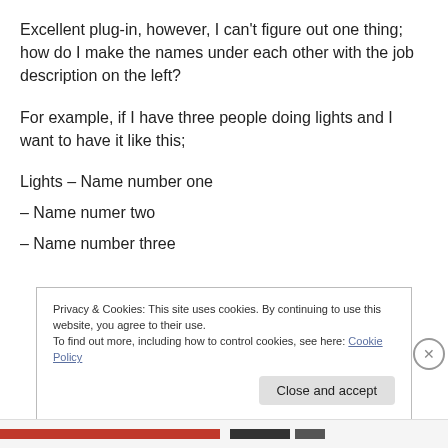Excellent plug-in, however, I can't figure out one thing; how do I make the names under each other with the job description on the left?
For example, if I have three people doing lights and I want to have it like this;
Lights – Name number one
– Name numer two
– Name number three
Privacy & Cookies: This site uses cookies. By continuing to use this website, you agree to their use.
To find out more, including how to control cookies, see here: Cookie Policy